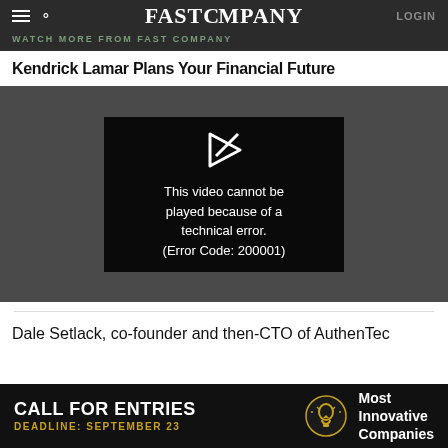FAST COMPANY
WATCH MORE FROM FAST COMPANY
Kendrick Lamar Plans Your Financial Future
[Figure (screenshot): Video player showing error message: 'This video cannot be played because of a technical error. (Error Code: 200001)']
Dale Setlack, co-founder and then-CTO of AuthenTec
[Figure (infographic): Advertisement banner: CALL FOR ENTRIES — DEADLINE: SEPTEMBER 23 — Most Innovative Companies]